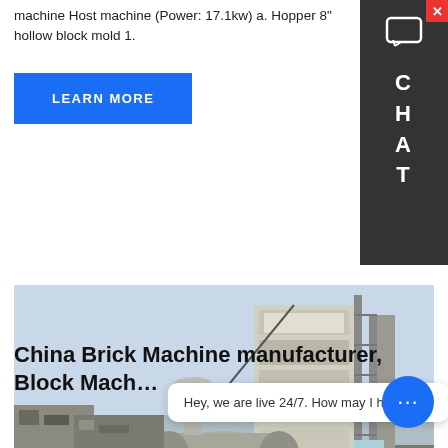machine Host machine (Power: 17.1kw) a. Hopper 8" hollow block mold 1.
LEARN MORE
[Figure (photo): Industrial asphalt mixing plant or brick machine manufacturing facility with a tall multi-story tower structure, scaffolding, and large cylindrical drum/rotary components in the foreground, under a hazy sky.]
China Brick Machine manufacturer, Block Mach...